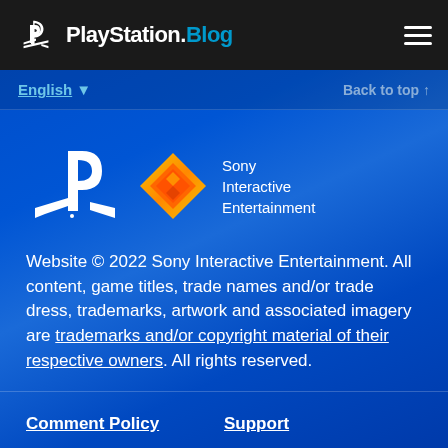PlayStation.Blog
English ▼   Back to top ↑
[Figure (logo): PlayStation logo (white) and Sony Interactive Entertainment diamond logo with text 'Sony Interactive Entertainment']
Website © 2022 Sony Interactive Entertainment. All content, game titles, trade names and/or trade dress, trademarks, artwork and associated imagery are trademarks and/or copyright material of their respective owners. All rights reserved.
Comment Policy   Support